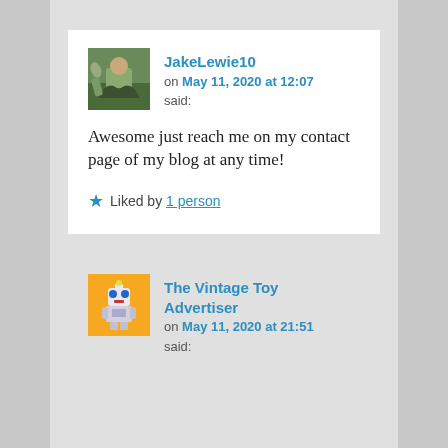JakeLewie10 on May 11, 2020 at 12:07 said:
Awesome just reach me on my contact page of my blog at any time!
Liked by 1 person
The Vintage Toy Advertiser on May 11, 2020 at 21:51 said: